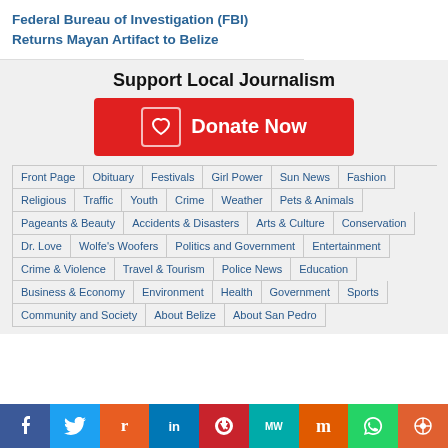Federal Bureau of Investigation (FBI) Returns Mayan Artifact to Belize
Support Local Journalism
[Figure (infographic): Red Donate Now button with heart icon]
Front Page
Obituary
Festivals
Girl Power
Sun News
Fashion
Religious
Traffic
Youth
Crime
Weather
Pets & Animals
Pageants & Beauty
Accidents & Disasters
Arts & Culture
Conservation
Dr. Love
Wolfe's Woofers
Politics and Government
Entertainment
Crime & Violence
Travel & Tourism
Police News
Education
Business & Economy
Environment
Health
Government
Sports
Community and Society
About Belize
About San Pedro
Social share bar: Facebook, Twitter, Reddit, LinkedIn, Pinterest, MeWe, Mix, WhatsApp, Share